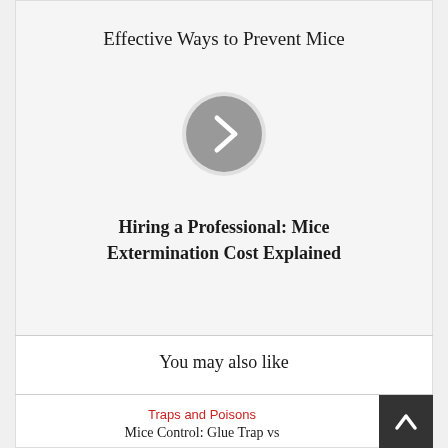Effective Ways to Prevent Mice
[Figure (other): Gray circle with white right-pointing chevron arrow, navigation button]
Hiring a Professional: Mice Extermination Cost Explained
You may also like
Traps and Poisons
Mice Control: Glue Trap vs